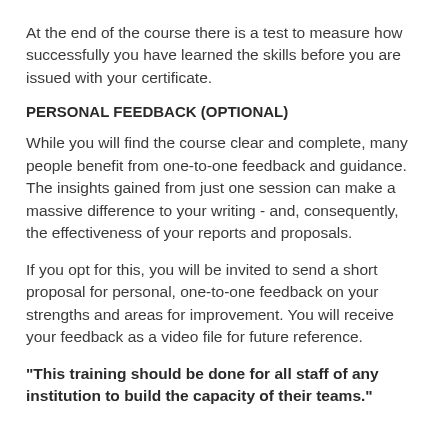At the end of the course there is a test to measure how successfully you have learned the skills before you are issued with your certificate.
PERSONAL FEEDBACK (OPTIONAL)
While you will find the course clear and complete, many people benefit from one-to-one feedback and guidance. The insights gained from just one session can make a massive difference to your writing - and, consequently, the effectiveness of your reports and proposals.
If you opt for this, you will be invited to send a short proposal for personal, one-to-one feedback on your strengths and areas for improvement. You will receive your feedback as a video file for future reference.
"This training should be done for all staff of any institution to build the capacity of their teams."